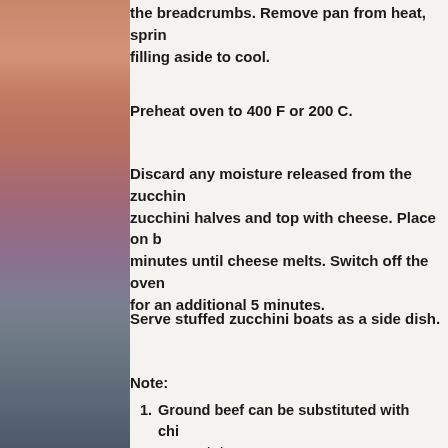the breadcrumbs. Remove pan from heat, sprinkle filling aside to cool.
Preheat oven to 400 F or 200 C.
Discard any moisture released from the zucchini, zucchini halves and top with cheese. Place on baking sheet, bake 20 minutes until cheese melts. Switch off the oven and leave in the oven for an additional 5 minutes.
Serve stuffed zucchini boats as a side dish.
Note:
Ground beef can be substituted with chicken, fish or potato.
If desired, add extra spices of your choice.
Tex Mex cheese was used, a blend of shredded cheddar and monterey jack.